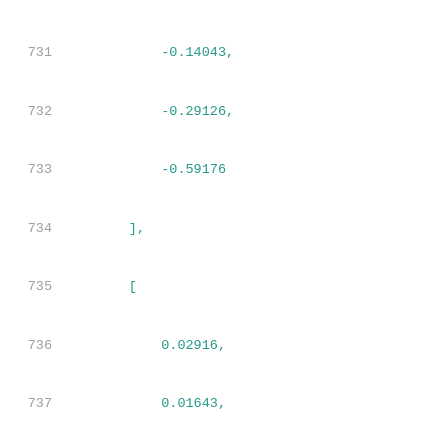731    -0.14043,
732    -0.29126,
733    -0.59176
734    ],
735    [
736        0.02916,
737        0.01643,
738        0.00465,
739        -0.01739,
740        -0.05855,
741        -0.13663,
742        -0.28883,
743        -0.59029
744    ],
745    [
746        0.04745,
747        0.03357,
748        0.02074,
749        -0.00309,
750        -0.04696,
751        -0.12826,
752        -0.28318,